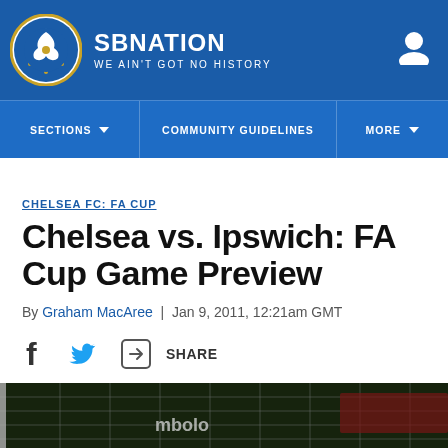SBNATION — WE AIN'T GOT NO HISTORY
SECTIONS | COMMUNITY GUIDELINES | MORE
CHELSEA FC: FA CUP
Chelsea vs. Ipswich: FA Cup Game Preview
By Graham MacAree | Jan 9, 2011, 12:21am GMT
SHARE
[Figure (photo): Football goal net viewed from behind, nighttime match scene]